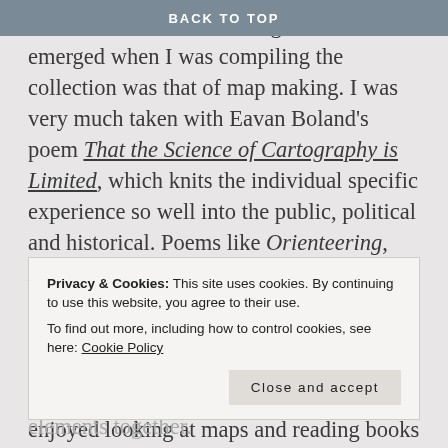BACK TO TOP
One of the earliest recurring themes that emerged when I was compiling the collection was that of map making. I was very much taken with Eavan Boland's poem That the Science of Cartography is Limited, which knits the individual specific experience so well into the public, political and historical. Poems like Orienteering, Home, The Man, The Boy And The Map, and A Map reflect failed attempts to site specific experience in exact physical locations. It's hard to know where this desire springs from, but as a kid I always enjoyed looking at maps and reading books that had maps
Privacy & Cookies: This site uses cookies. By continuing to use this website, you agree to their use.
To find out more, including how to control cookies, see here: Cookie Policy
Close and accept
elements together.